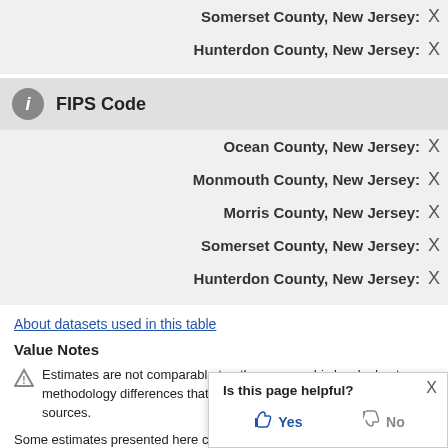Somerset County, New Jersey: X
Hunterdon County, New Jersey: X
FIPS Code
Ocean County, New Jersey: X
Monmouth County, New Jersey: X
Morris County, New Jersey: X
Somerset County, New Jersey: X
Hunterdon County, New Jersey: X
About datasets used in this table
Value Notes
Estimates are not comparable to other geographic levels due to methodology differences that may exist between different data sources.
Some estimates presented here come from sample data, and thus have sampling errors that may render some apparent differences between geographies statistically indistinguishable. Click the left of each row in TABLE view to learn about samp
Is this page helpful? Yes No